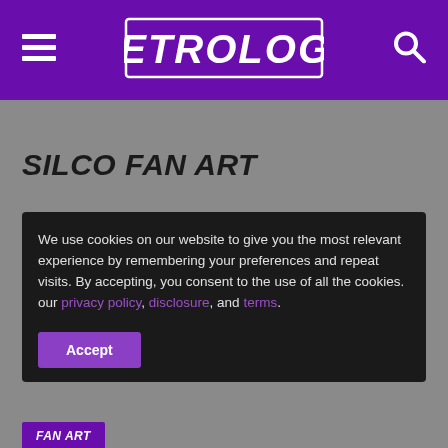RETROLOGY
SILCO FAN ART
We use cookies on our website to give you the most relevant experience by remembering your preferences and repeat visits. By accepting, you consent to the use of all the cookies. our privacy policy, disclosure, and terms.
FAN ART
Arcane fan art that you should really check out